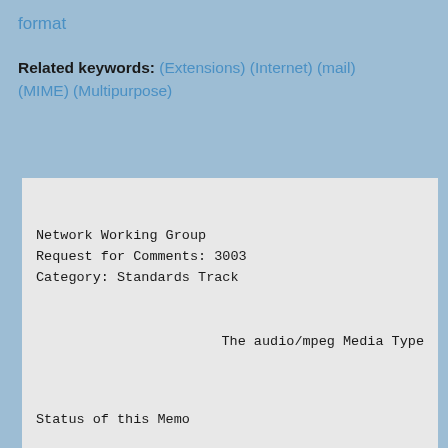format
Related keywords: (Extensions) (Internet) (mail) (MIME) (Multipurpose)
Network Working Group
Request for Comments: 3003
Category: Standards Track
The audio/mpeg Media Type
Status of this Memo
This document specifies an Internet standards Internet community, and requests discussion ar improvements.  Please refer to the current ed